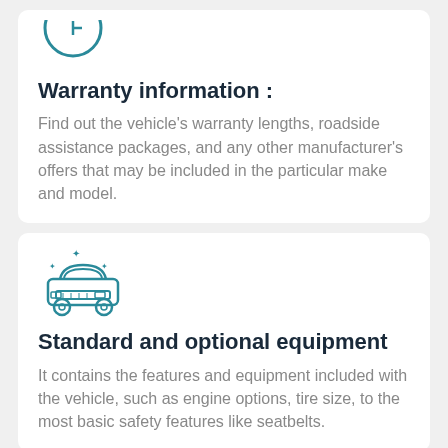[Figure (illustration): Teal circle icon (partially visible at top) representing warranty/information]
Warranty information :
Find out the vehicle's warranty lengths, roadside assistance packages, and any other manufacturer's offers that may be included in the particular make and model.
[Figure (illustration): Teal car icon with sparkle stars representing standard and optional equipment]
Standard and optional equipment
It contains the features and equipment included with the vehicle, such as engine options, tire size, to the most basic safety features like seatbelts.
[Figure (illustration): Teal clock/time icon (partially visible at bottom) representing another section]